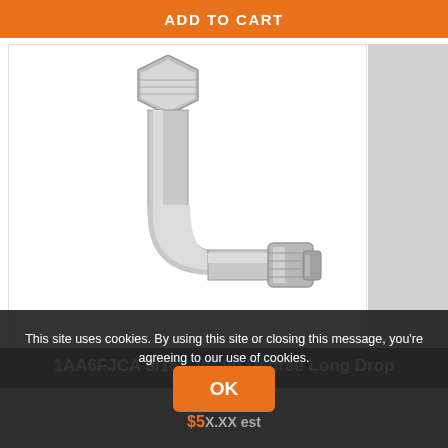ADD TO CART
[Figure (photo): 1AA6FJCA 9/16" JIC 90 Degree Long Drop Female hydraulic fitting - a silver/chrome angled hose fitting with a hexagonal nut at top and a swaged ferrule end at the bottom right, forming approximately a 90-degree elbow shape.]
This site uses cookies. By using this site or closing this message, you're agreeing to our use of cookies.
1AA6FJCA 9/16" JIC 90 Degree Long Drop Female
$5X.XX est
OK